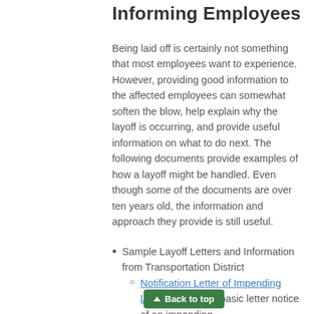Informing Employees
Being laid off is certainly not something that most employees want to experience. However, providing good information to the affected employees can somewhat soften the blow, help explain why the layoff is occurring, and provide useful information on what to do next. The following documents provide examples of how a layoff might be handled. Even though some of the documents are over ten years old, the information and approach they provide is still useful.
Sample Layoff Letters and Information from Transportation District
Notification Letter of Impending Layoff (1999) – A basic letter notice of an impending